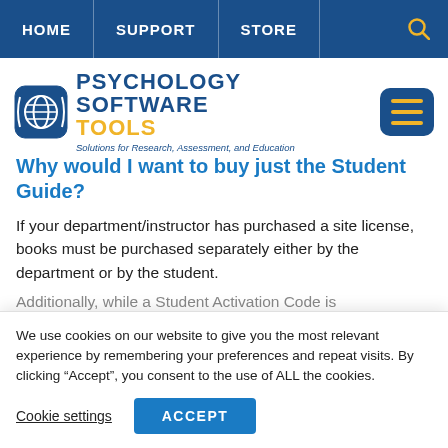HOME | SUPPORT | STORE | [search icon]
[Figure (logo): Psychology Software Tools logo with globe icon and tagline 'Solutions for Research, Assessment, and Education']
Why would I want to buy just the Student Guide?
If your department/instructor has purchased a site license, books must be purchased separately either by the department or by the student.
Additionally, while a Student Activation Code is
We use cookies on our website to give you the most relevant experience by remembering your preferences and repeat visits. By clicking “Accept”, you consent to the use of ALL the cookies.
Cookie settings | ACCEPT